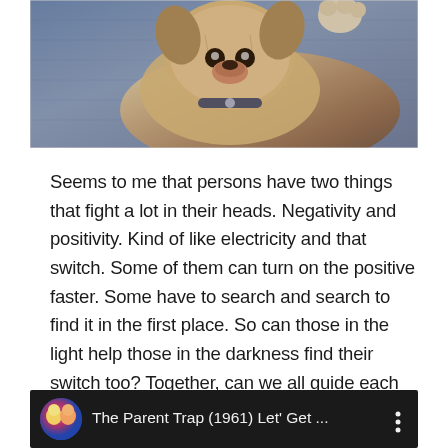[Figure (photo): A photo of a small fluffy dog (appears to be a Chihuahua mix) lying on a blue fabric surface, partially cropped at the top of the page. A paw is visible at the top.]
Seems to me that persons have two things that fight a lot in their heads. Negativity and positivity. Kind of like electricity and that switch. Some of them can turn on the positive faster. Some have to search and search to find it in the first place. So can those in the light help those in the darkness find their switch too? Together, can we all guide each other when one of us gets down?
[Figure (screenshot): A video bar at the bottom with a dark background showing a circular icon with colorful cartoon characters, followed by the text 'The Parent Trap (1961)  Let' Get ...' and a vertical three-dot menu icon.]